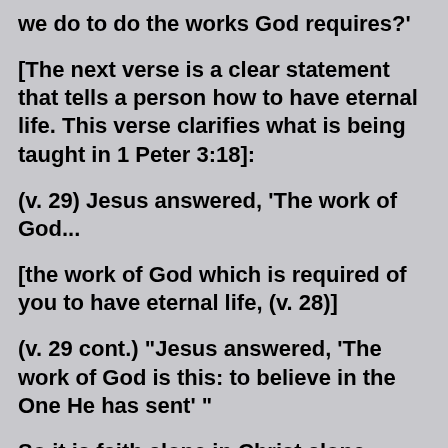(…) what must we do to do the works God requires?'
[The next verse is a clear statement that tells a person how to have eternal life. This verse clarifies what is being taught in 1 Peter 3:18]:
(v. 29) Jesus answered, 'The work of God...
[the work of God which is required of you to have eternal life, (v. 28)]
(v. 29 cont.) "Jesus answered, 'The work of God is this: to believe in the One He has sent' "
So it is faith alone in Christ alone which saves, and this is the only way a person